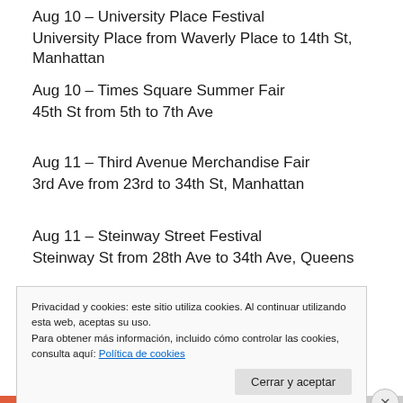Aug 10 – University Place Festival
University Place from Waverly Place to 14th St, Manhattan
Aug 10 – Times Square Summer Fair
45th St from 5th to 7th Ave
Aug 11 – Third Avenue Merchandise Fair
3rd Ave from 23rd to 34th St, Manhattan
Aug 11 – Steinway Street Festival
Steinway St from 28th Ave to 34th Ave, Queens
Aug 16 – Bowling green Park Fair
Privacidad y cookies: este sitio utiliza cookies. Al continuar utilizando esta web, aceptas su uso.
Para obtener más información, incluido cómo controlar las cookies, consulta aquí: Política de cookies
Cerrar y aceptar